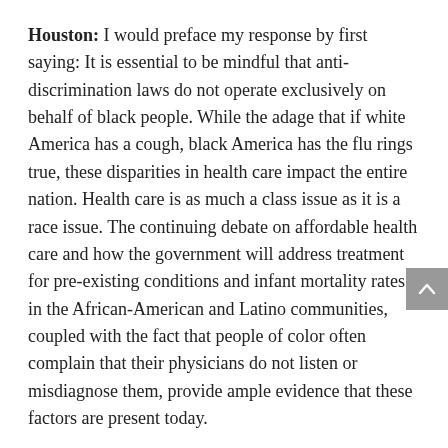Houston: I would preface my response by first saying: It is essential to be mindful that anti-discrimination laws do not operate exclusively on behalf of black people. While the adage that if white America has a cough, black America has the flu rings true, these disparities in health care impact the entire nation. Health care is as much a class issue as it is a race issue. The continuing debate on affordable health care and how the government will address treatment for pre-existing conditions and infant mortality rates in the African-American and Latino communities, coupled with the fact that people of color often complain that their physicians do not listen or misdiagnose them, provide ample evidence that these factors are present today.
Ziabari: How are African-American artists using arts and culture to reflect on the discrimination...